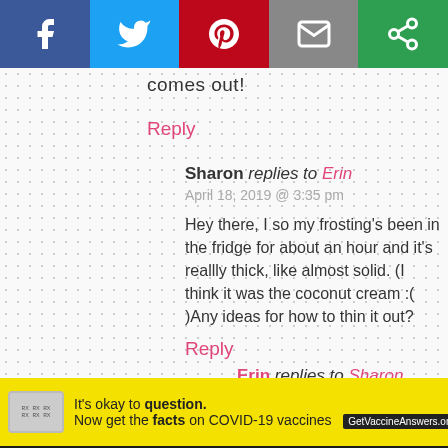[Figure (other): Social media share bar with Facebook (blue), Twitter (light blue), Pinterest (red), Email (grey), and Share (green) buttons]
comes out!
Reply
Sharon replies to Erin
April 18, 2019 @ 3:35 pm

Hey there, I so my frosting’s been in the fridge for about an hour and it’s reallly thick, like almost solid. (I think it was the coconut cream :( )Any ideas for how to thin it out?
Reply
Erin replies to Sharon
April 18, 2019 @ 9:01 pm
[Figure (other): Scroll to top widget showing 'Scroll to top' text]
[Figure (other): COVID-19 vaccine advertisement banner: It's okay to question. Now get the facts on COVID-19 vaccines. GetVaccineAnswers.org]